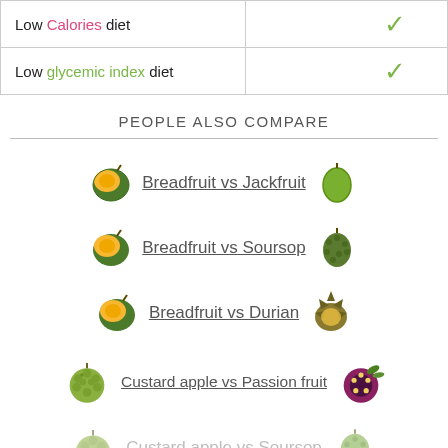| Diet type |  |  |
| --- | --- | --- |
| Low Calories diet |  | ✓ |
| Low glycemic index diet |  | ✓ |
PEOPLE ALSO COMPARE
Breadfruit vs Jackfruit
Breadfruit vs Soursop
Breadfruit vs Durian
Custard apple vs Passion fruit
Custard apple vs Soursop